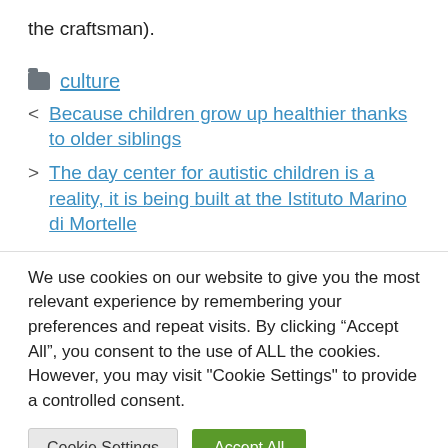the craftsman).
culture
Because children grow up healthier thanks to older siblings
The day center for autistic children is a reality, it is being built at the Istituto Marino di Mortelle
We use cookies on our website to give you the most relevant experience by remembering your preferences and repeat visits. By clicking “Accept All”, you consent to the use of ALL the cookies. However, you may visit "Cookie Settings" to provide a controlled consent.